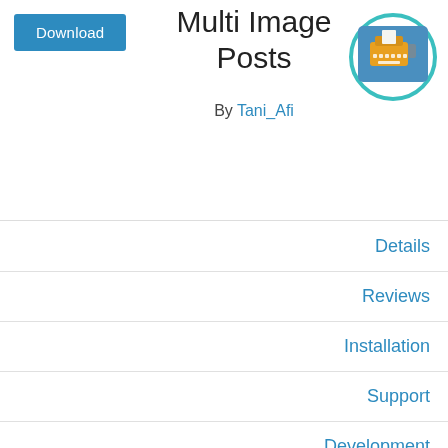Download
Multi Image Posts
By Tani_Afi
[Figure (illustration): WordPress plugin icon showing a vintage typewriter on a teal/blue background, circular border]
Details
Reviews
Installation
Support
Development
Description
This `Mutli Image Posts` plugin will let you create single/bulk post at once with draft status